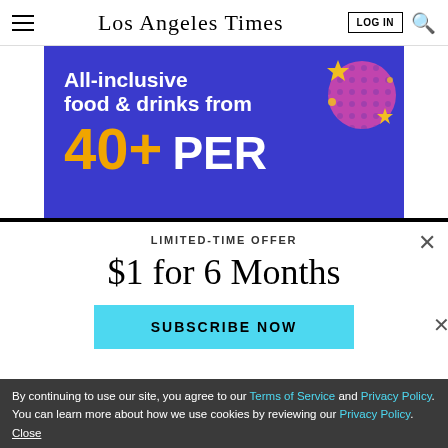Los Angeles Times
[Figure (infographic): Blue advertisement banner: All-inclusive food & drinks from 40+ PER, with decorative glittery ball graphic]
LIMITED-TIME OFFER
$1 for 6 Months
SUBSCRIBE NOW
By continuing to use our site, you agree to our Terms of Service and Privacy Policy. You can learn more about how we use cookies by reviewing our Privacy Policy. Close